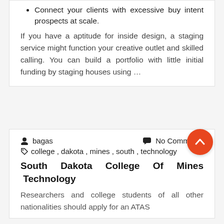Connect your clients with excessive buy intent prospects at scale.
If you have a aptitude for inside design, a staging service might function your creative outlet and skilled calling. You can build a portfolio with little initial funding by staging houses using …
bagas    No Comments
college , dakota , mines , south , technology
South Dakota College Of Mines Technology
Researchers and college students of all other nationalities should apply for an ATAS